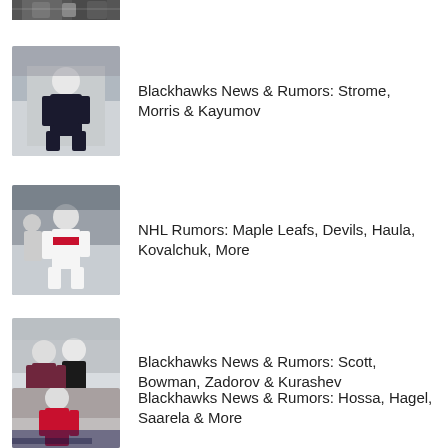[Figure (photo): Partially visible hockey players photo (cropped at top)]
[Figure (photo): Blackhawks hockey player in white jersey on ice]
Blackhawks News & Rumors: Strome, Morris & Kayumov
[Figure (photo): Florida Panthers hockey player in white jersey]
NHL Rumors: Maple Leafs, Devils, Haula, Kovalchuk, More
[Figure (photo): Hockey player with referee on ice]
Blackhawks News & Rumors: Scott, Bowman, Zadorov & Kurashev
[Figure (photo): Blackhawks player in red jersey on ice]
Blackhawks News & Rumors: Hossa, Hagel, Saarela & More